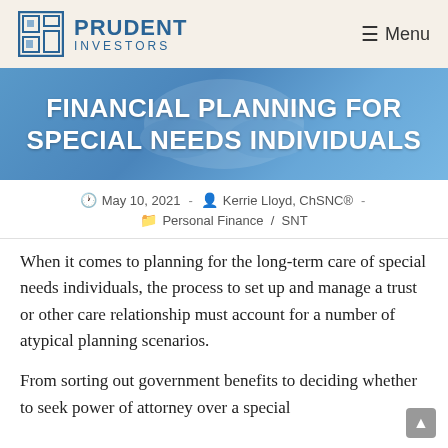PRUDENT INVESTORS | Menu
[Figure (photo): Hero banner with blue background and hands holding a colorful puzzle-piece heart, with white text overlay reading FINANCIAL PLANNING FOR SPECIAL NEEDS INDIVIDUALS]
FINANCIAL PLANNING FOR SPECIAL NEEDS INDIVIDUALS
May 10, 2021  ·  Kerrie Lloyd, ChSNC®  -  Personal Finance / SNT
When it comes to planning for the long-term care of special needs individuals, the process to set up and manage a trust or other care relationship must account for a number of atypical planning scenarios.
From sorting out government benefits to deciding whether to seek power of attorney over a special